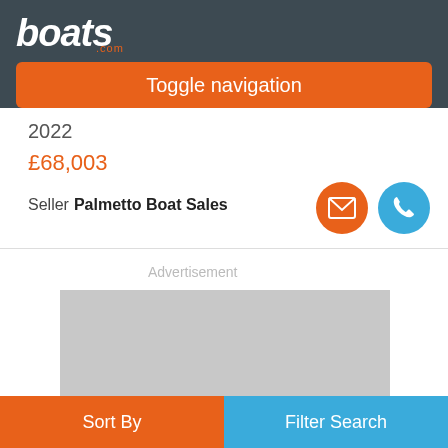boats.com
Toggle navigation
2022
£68,003
Seller Palmetto Boat Sales
Advertisement
[Figure (other): Grey advertisement placeholder image]
Sort By
Filter Search